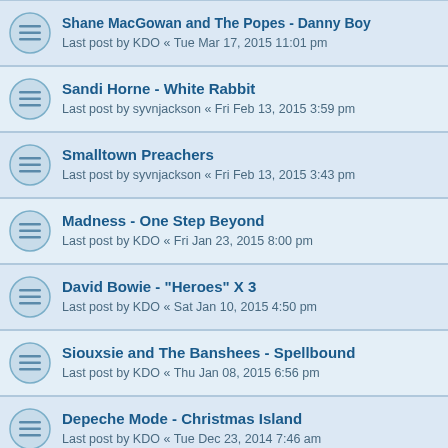Shane MacGowan and The Popes - Danny Boy
Last post by KDO « Tue Mar 17, 2015 11:01 pm
Sandi Horne - White Rabbit
Last post by syvnjackson « Fri Feb 13, 2015 3:59 pm
Smalltown Preachers
Last post by syvnjackson « Fri Feb 13, 2015 3:43 pm
Madness - One Step Beyond
Last post by KDO « Fri Jan 23, 2015 8:00 pm
David Bowie - "Heroes" X 3
Last post by KDO « Sat Jan 10, 2015 4:50 pm
Siouxsie and The Banshees - Spellbound
Last post by KDO « Thu Jan 08, 2015 6:56 pm
Depeche Mode - Christmas Island
Last post by KDO « Tue Dec 23, 2014 7:46 am
"Rough Kids" in Three Versions
Last post by KDO « Fri Dec 19, 2014 6:29 pm
Join/Merge MP4 Files Mac with MP4 Joiner for Mac
Last post by nihonal « Wed Dec 17, 2014 7:50 am
Replies: 4
The Jesus and Mary Chain - Between Planets